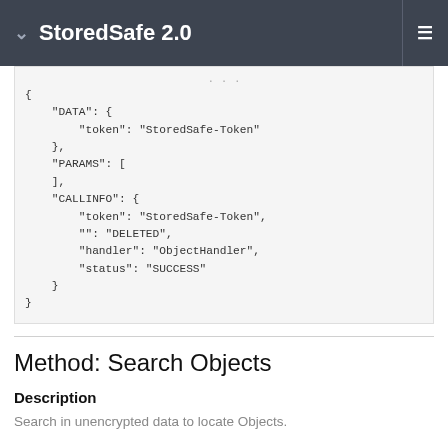StoredSafe 2.0
{
    "DATA": {
        "token": "StoredSafe-Token"
    },
    "PARAMS": [
    ],
    "CALLINFO": {
        "token": "StoredSafe-Token",
        "": "DELETED",
        "handler": "ObjectHandler",
        "status": "SUCCESS"
    }
}
Method: Search Objects
Description
Search in unencrypted data to locate Objects.